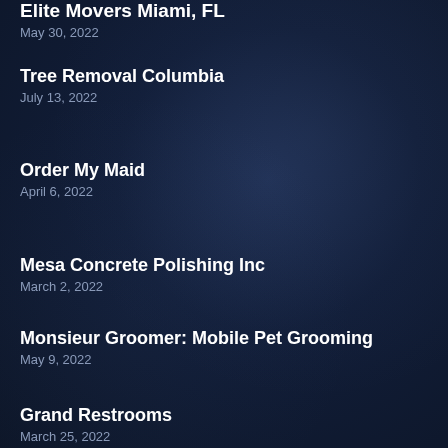Elite Movers Miami, FL
May 30, 2022
Tree Removal Columbia
July 13, 2022
Order My Maid
April 6, 2022
Mesa Concrete Polishing Inc
March 2, 2022
Monsieur Groomer: Mobile Pet Grooming
May 9, 2022
Grand Restrooms
March 25, 2022